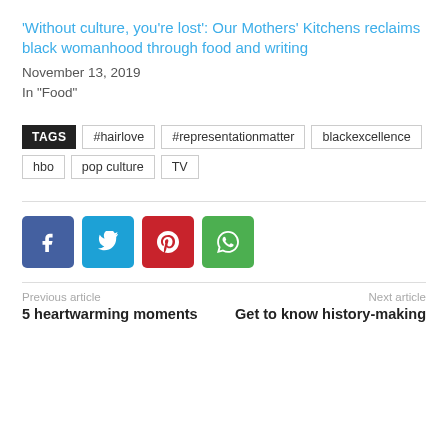'Without culture, you're lost': Our Mothers' Kitchens reclaims black womanhood through food and writing
November 13, 2019
In "Food"
TAGS  #hairlove  #representationmatter  blackexcellence  hbo  pop culture  TV
[Figure (infographic): Social share buttons: Facebook (blue), Twitter (light blue), Pinterest (red), WhatsApp (green)]
Previous article
5 heartwarming moments
Next article
Get to know history-making